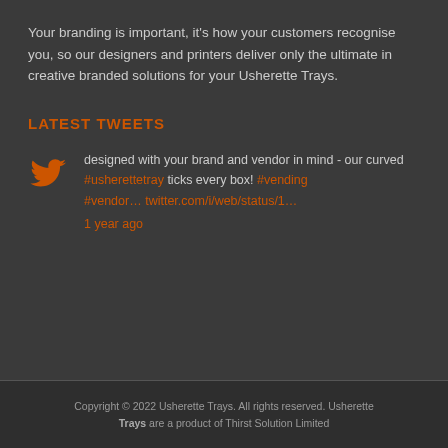Your branding is important, it's how your customers recognise you, so our designers and printers deliver only the ultimate in creative branded solutions for your Usherette Trays.
LATEST TWEETS
designed with your brand and vendor in mind - our curved #usherettetray ticks every box! #vending #vendor… twitter.com/i/web/status/1… 1 year ago
Copyright © 2022 Usherette Trays. All rights reserved. Usherette Trays are a product of Thirst Solution Limited